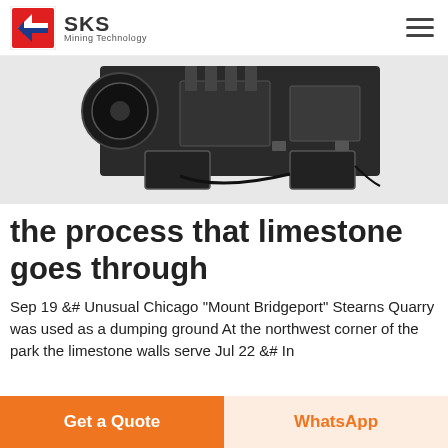SKS Mining Technology
[Figure (photo): Mining machinery equipment shown from below/side angle, dark industrial machine with attached components and cables on white background]
the process that limestone goes through
Sep 19 &# Unusual Chicago "Mount Bridgeport" Stearns Quarry was used as a dumping ground At the northwest corner of the park the limestone walls serve Jul 22 &# In
Get a Quote
WhatsApp